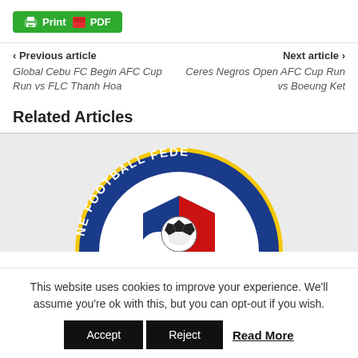[Figure (logo): Green button with printer icon and PDF label]
< Previous article
Global Cebu FC Begin AFC Cup Run vs FLC Thanh Hoa
Next article >
Ceres Negros Open AFC Cup Run vs Boeung Ket
Related Articles
[Figure (logo): Philippine Football Federation logo - circular badge with yellow border, blue and red shield, soccer ball in center, text reads FOOTBALL FEDE (partially visible)]
This website uses cookies to improve your experience. We'll assume you're ok with this, but you can opt-out if you wish.
Accept   Reject   Read More